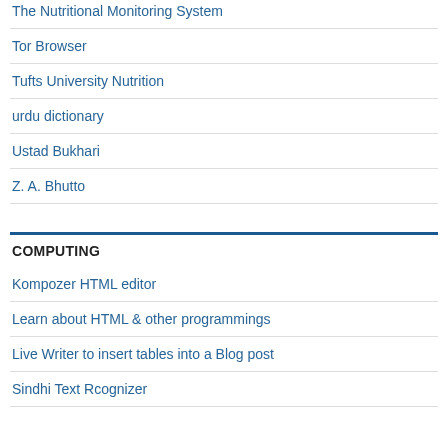The Nutritional Monitoring System
Tor Browser
Tufts University Nutrition
urdu dictionary
Ustad Bukhari
Z. A. Bhutto
COMPUTING
Kompozer HTML editor
Learn about HTML & other programmings
Live Writer to insert tables into a Blog post
Sindhi Text Rcognizer